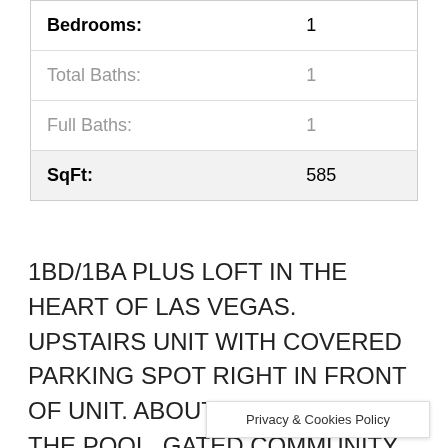| Property | Value |
| --- | --- |
| Bedrooms: | 1 |
| Total Baths: | 1 |
| Full Baths: | 1 |
| SqFt: | 585 |
1BD/1BA PLUS LOFT IN THE HEART OF LAS VEGAS. UPSTAIRS UNIT WITH COVERED PARKING SPOT RIGHT IN FRONT OF UNIT. ABOUT 50 STEPS FROM THE POOL. GATED COMMUNITY WITH A POOL! CLOSE TO SHOPS, SCHOOLS AND FREEWAY. GREAT INVESTMENT UNIT T…
Privacy & Cookies Policy